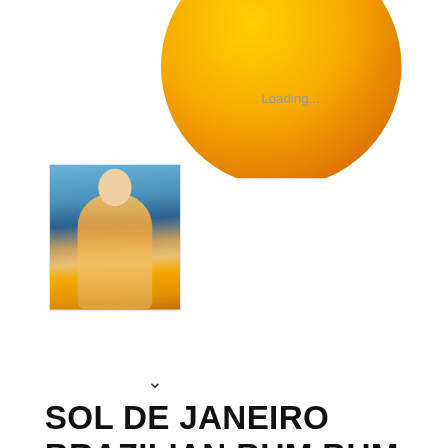[Figure (photo): Orange round product container (Sol de Janeiro Brazilian Bum Bum Cream jar), partially cropped at top, with 'Loading...' text overlay]
[Figure (photo): Thumbnail image of a woman in a yellow outfit at the beach]
v
SOL DE JANEIRO BRAZILIAN BUM BUM CREAM 2.5 OZ
$ 20.00
Travel Size 2.5 oz Fragrance Family:Warm & SpicyScent Type:Warm & Sweet GourmandsKey Notes:Salted Caramel, PIstachio, VanillaWhich skin type is it good for? Normal, Oily, Combination, Dry, SensitiveWhat it is:A fast-absorbing body